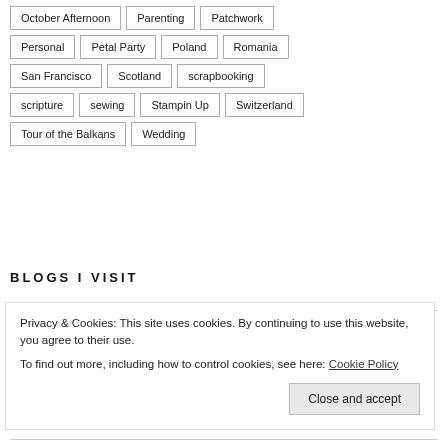October Afternoon
Parenting
Patchwork
Personal
Petal Party
Poland
Romania
San Francisco
Scotland
scrapbooking
scripture
sewing
Stampin Up
Switzerland
Tour of the Balkans
Wedding
BLOGS I VISIT
Chloe – my daughter in laws blog
Privacy & Cookies: This site uses cookies. By continuing to use this website, you agree to their use.
To find out more, including how to control cookies, see here: Cookie Policy
Close and accept